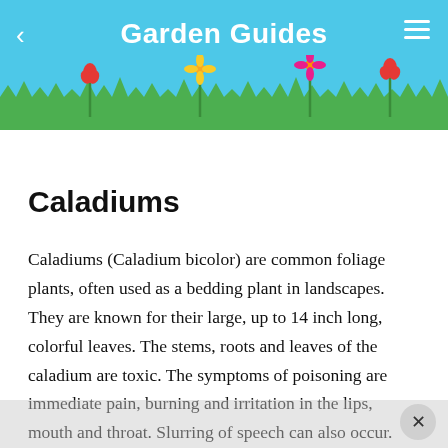Garden Guides
[Figure (illustration): Garden Guides app header with sky blue background, green grass silhouette, colorful flowers (red, pink, yellow), and a white rabbit illustration]
Caladiums
Caladiums (Caladium bicolor) are common foliage plants, often used as a bedding plant in landscapes. They are known for their large, up to 14 inch long, colorful leaves. The stems, roots and leaves of the caladium are toxic. The symptoms of poisoning are immediate pain, burning and irritation in the lips, mouth and throat. Slurring of speech can also occur.